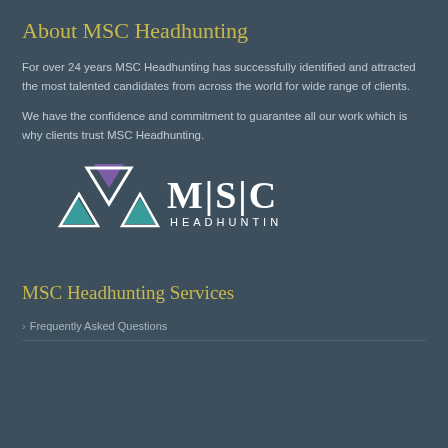About MSC Headhunting
For over 24 years MSC Headhunting has successfully identified and attracted the most talented candidates from across the world for wide range of clients.
We have the confidence and commitment to guarantee all our work which is why clients trust MSC Headhunting.
[Figure (logo): MSC Headhunting logo: geometric triangles in purple and teal with 'MSC HEADHUNTING' wordmark]
MSC Headhunting Services
Frequently Asked Questions